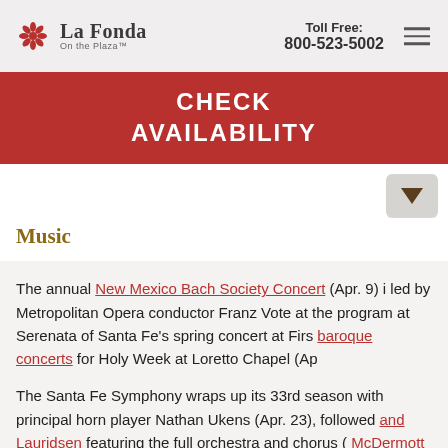La Fonda On the Plaza™ | Toll Free: 800-523-5002
CHECK AVAILABILITY
Music
The annual New Mexico Bach Society Concert (Apr. 9) i led by Metropolitan Opera conductor Franz Vote at the program at Serenata of Santa Fe's spring concert at Firs baroque concerts for Holy Week at Loretto Chapel (Ap
The Santa Fe Symphony wraps up its 33rd season with principal horn player Nathan Ukens (Apr. 23), followed and Lauridsen featuring the full orchestra and chorus ( McDermott playing Beethoven (Apr. 29-30), with an art